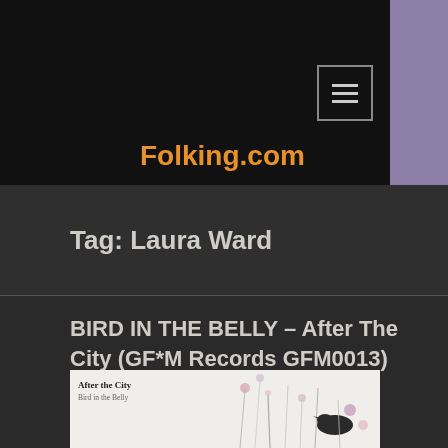Folking.com
Tag: Laura Ward
BIRD IN THE BELLY – After The City (GF*M Records GFM0013)
[Figure (photo): Album cover for 'After the City' by Bird in the Belly, showing dried flowers and plants on a light background with text 'After the City / Bird in the Belly']